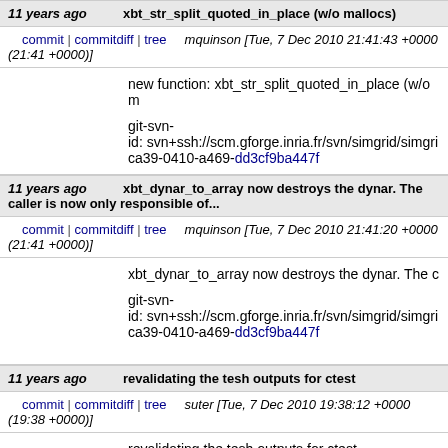11 years ago   xbt_str_split_quoted_in_place (w/o mallocs)
commit | commitdiff | tree   mquinson [Tue, 7 Dec 2010 21:41:43 +0000 (21:41 +0000)]
new function: xbt_str_split_quoted_in_place (w/o m

git-svn-id: svn+ssh://scm.gforge.inria.fr/svn/simgrid/simgri ca39-0410-a469-dd3cf9ba447f
11 years ago   xbt_dynar_to_array now destroys the dynar. The caller is now only responsible of...
commit | commitdiff | tree   mquinson [Tue, 7 Dec 2010 21:41:20 +0000 (21:41 +0000)]
xbt_dynar_to_array now destroys the dynar. The c

git-svn-id: svn+ssh://scm.gforge.inria.fr/svn/simgrid/simgri ca39-0410-a469-dd3cf9ba447f
11 years ago   revalidating the tesh outputs for ctest
commit | commitdiff | tree   suter [Tue, 7 Dec 2010 19:38:12 +0000 (19:38 +0000)]
revalidating the tesh outputs for ctest